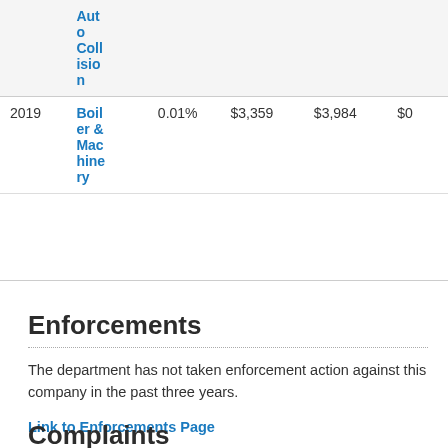| Year | Line of Business | % of Market | Premiums Written | Premiums Earned | Losses Paid |
| --- | --- | --- | --- | --- | --- |
|  | Auto Collision |  |  |  |  |
| 2019 | Boiler & Machinery | 0.01% | $3,359 | $3,984 | $0 |
Enforcements
The department has not taken enforcement action against this company in the past three years.
Link to Enforcements Page
Complaints